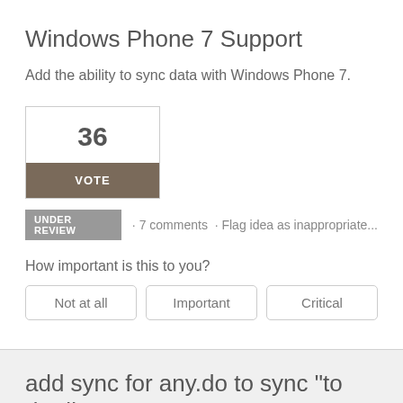Windows Phone 7 Support
Add the ability to sync data with Windows Phone 7.
36
VOTE
UNDER REVIEW · 7 comments · Flag idea as inappropriate...
How important is this to you?
Not at all   Important   Critical
add sync for any.do to sync "to do" lists
any.do is a great "to do" list app for android. Please